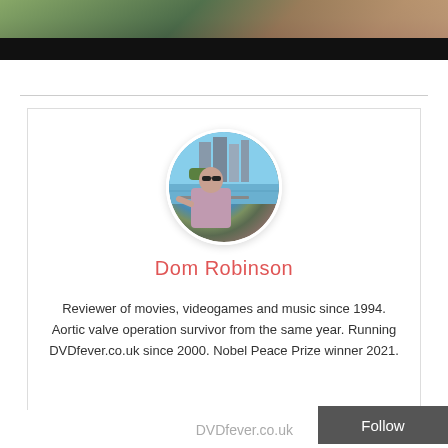[Figure (photo): Top banner strip showing a partially visible outdoor/nature scene with dark overlay at the bottom]
[Figure (photo): Circular profile photo of Dom Robinson, a man wearing sunglasses and a purple shirt, standing by a waterfront with modern buildings in the background]
Dom Robinson
Reviewer of movies, videogames and music since 1994. Aortic valve operation survivor from the same year. Running DVDfever.co.uk since 2000. Nobel Peace Prize winner 2021.
DVDfever.co.uk  Follow